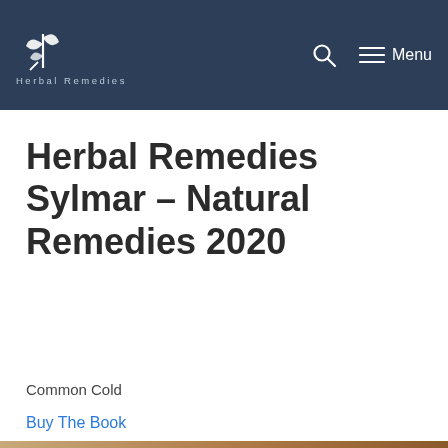Herbal Remedies — Navigation bar with logo, search, and menu
Herbal Remedies Sylmar – Natural Remedies 2020
Common Cold
Buy The Book